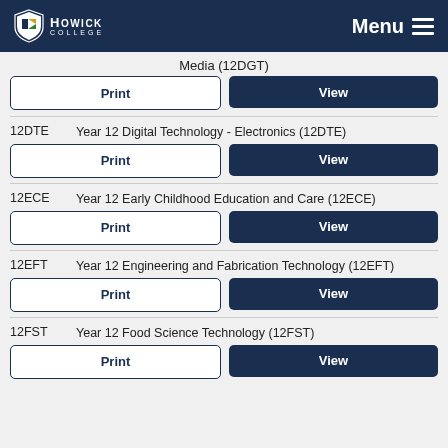Howick College — Menu
Media (12DGT)
Print | View
12DTE — Year 12 Digital Technology - Electronics (12DTE)
Print | View
12ECE — Year 12 Early Childhood Education and Care (12ECE)
Print | View
12EFT — Year 12 Engineering and Fabrication Technology (12EFT)
Print | View
12FST — Year 12 Food Science Technology (12FST)
Print | View